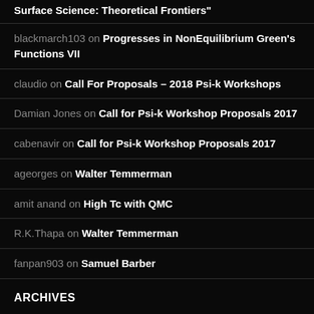Surface Science: Theoretical Frontiers"
blackmarch103 on Progresses in NonEquilibrium Green's Functions VII
claudio on Call For Proposals – 2018 Psi-k Workshops
Damian Jones on Call for Psi-k Workshop Proposals 2017
cabenavir on Call for Psi-k Workshop Proposals 2017
ageorges on Walter Temmerman
amit anand on High Tc with QMC
R.K.Thapa on Walter Temmerman
fanpan903 on Samuel Barber
ARCHIVES
July 2022